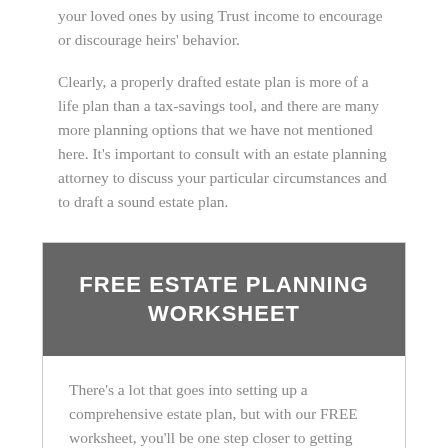your loved ones by using Trust income to encourage or discourage heirs' behavior.
Clearly, a properly drafted estate plan is more of a life plan than a tax-savings tool, and there are many more planning options that we have not mentioned here. It's important to consult with an estate planning attorney to discuss your particular circumstances and to draft a sound estate plan.
FREE ESTATE PLANNING WORKSHEET
There's a lot that goes into setting up a comprehensive estate plan, but with our FREE worksheet, you'll be one step closer to getting yourself and your family on the path that